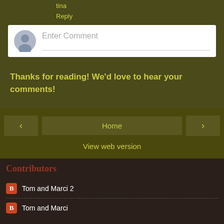tina
Reply
[Figure (other): Comment input box with avatar placeholder and 'Enter Comment' text field]
Thanks for reading! We'd love to hear your comments!
‹
Home
›
View web version
Contributors
Tom and Marci 2
Tom and Marci
Powered by Blogger.